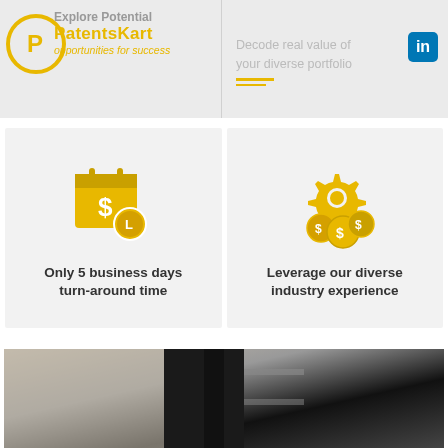[Figure (logo): PatentsKart logo with circular P icon, text 'Explore Potential PatentsKart opportunities for success']
Decode real value of your diverse portfolio
[Figure (infographic): Calendar with dollar sign icon and clock, caption: Only 5 business days turn-around time]
Only 5 business days turn-around time
[Figure (infographic): Gear with person and coins icons, caption: Leverage our diverse industry experience]
Leverage our diverse industry experience
[Figure (photo): Close-up photo of a building exterior with dark architectural elements]